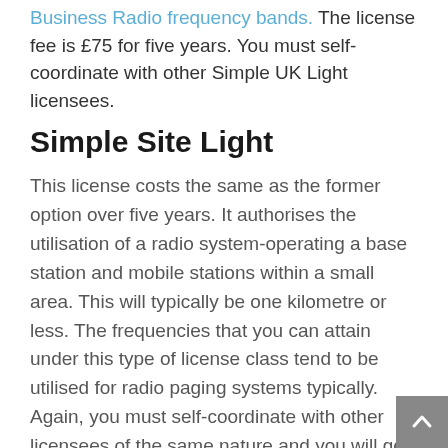Business Radio frequency bands. The license fee is £75 for five years. You must self-coordinate with other Simple UK Light licensees.
Simple Site Light
This license costs the same as the former option over five years. It authorises the utilisation of a radio system-operating a base station and mobile stations within a small area. This will typically be one kilometre or less. The frequencies that you can attain under this type of license class tend to be utilised for radio paging systems typically. Again, you must self-coordinate with other licensees of the same nature and you will get access to a number of different frequencies.
Suppliers Light